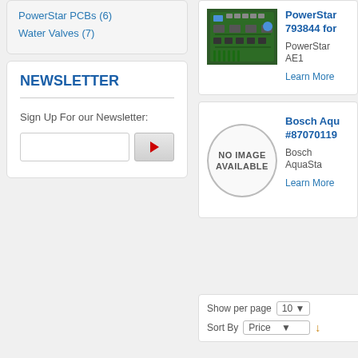PowerStar PCBs (6)
Water Valves (7)
NEWSLETTER
Sign Up For our Newsletter:
[Figure (screenshot): Newsletter email input field with red play/submit button]
[Figure (photo): PowerStar PCB circuit board product photo]
PowerStar 793844 for
PowerStar AE1
Learn More
[Figure (illustration): No image available placeholder with circle]
Bosch Aqu #87070119
Bosch AquaSta
Learn More
Show per page  10
Sort By  Price